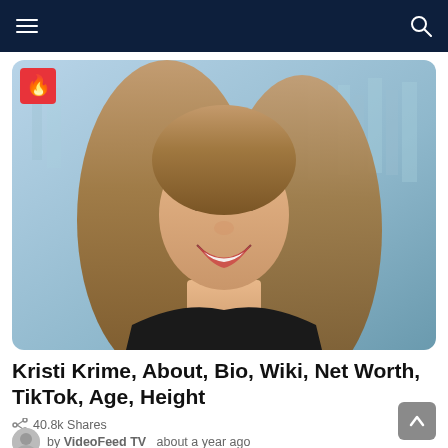Navigation bar with hamburger menu and search icon
[Figure (photo): Young woman with long brown hair smiling, wearing a black t-shirt, standing outdoors with a glass building in the background. Red fire/trending badge in top-left corner of image.]
Kristi Krime, About, Bio, Wiki, Net Worth, TikTok, Age, Height
40.8k Shares
by VideoFeed TV  about a year ago